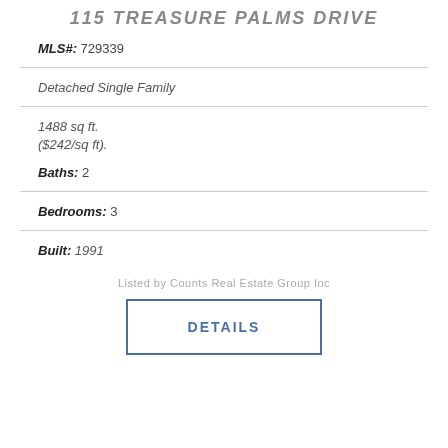115 TREASURE PALMS DRIVE
MLS#: 729339
Detached Single Family
1488 sq ft. ($242/sq ft).
Baths: 2
Bedrooms: 3
Built: 1991
Listed by Counts Real Estate Group Inc
DETAILS